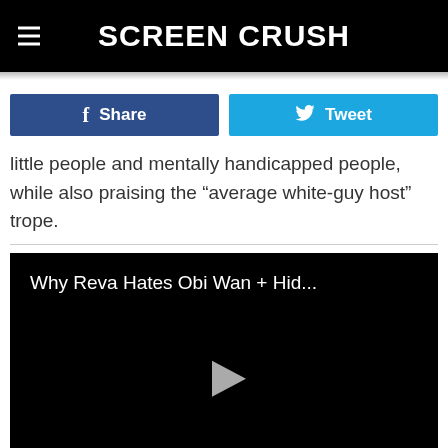Screen Crush
Share
Tweet
little people and mentally handicapped people, while also praising the “average white-guy host” trope.
[Figure (screenshot): Embedded video player with black background showing title 'Why Reva Hates Obi Wan + Hid...' and a play button triangle in the center]